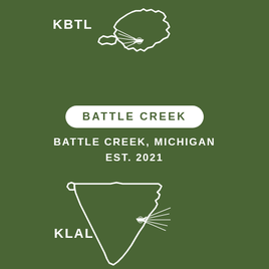[Figure (illustration): White outline of Michigan state with an airplane graphic and radiating lines at the location of Battle Creek, with 'KBTL' label]
BATTLE CREEK
BATTLE CREEK, MICHIGAN
EST. 2021
[Figure (illustration): White outline of Florida state with an airplane graphic and radiating lines at the location of Lakeland, with 'KLAL' label]